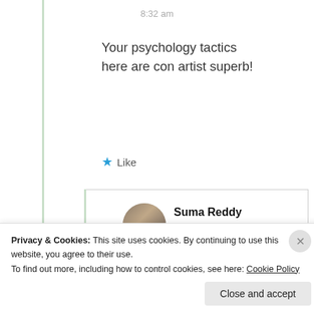8:32 am
Your psychology tactics here are con artist superb!
★ Like
[Figure (photo): Circular profile photo of Suma Reddy]
Suma Reddy
11th Jul 2021 at 8:35 am
Privacy & Cookies: This site uses cookies. By continuing to use this website, you agree to their use. To find out more, including how to control cookies, see here: Cookie Policy
Close and accept